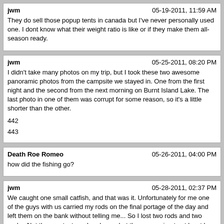jwm | 05-19-2011, 11:59 AM
They do sell those popup tents in canada but I've never personally used one. I dont know what their weight ratio is like or if they make them all-season ready.
jwm | 05-25-2011, 08:20 PM
I didn't take many photos on my trip, but I took these two awesome panoramic photos from the campsite we stayed in. One from the first night and the second from the next morning on Burnt Island Lake. The last photo in one of them was corrupt for some reason, so it's a little shorter than the other.
442
443
Death Roe Romeo | 05-26-2011, 04:00 PM
how did the fishing go?
jwm | 05-28-2011, 02:37 PM
We caught one small catfish, and that was it. Unfortunately for me one of the guys with us carried my rods on the final portage of the day and left them on the bank without telling me... So I lost two rods and two reels.. Not the greatest weekend ever, but the guys going to at least buy me 1 new rod and reel. The ones I took were pretty old and beat up so I wasn't going to be too upset if they got lost or damaged, but to not even have gotten the chance to use them was really shitty.

I think smallmouth opens on our next trip in June, so I should be able to catch something then, and I'm still working for my first lake trout!